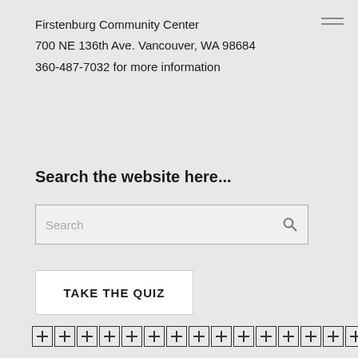Firstenburg Community Center
700 NE 136th Ave. Vancouver, WA 98684
360-487-7032 for more information
Search the website here...
[Figure (screenshot): Search input box with placeholder text 'Search' and a magnifying glass icon on the right]
[Figure (screenshot): White button with bold text 'TAKE THE QUIZ']
[Figure (other): A row of 16 small square icons each containing a plus/crosshair symbol]